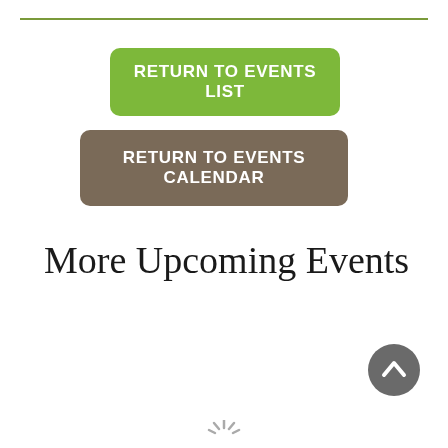RETURN TO EVENTS LIST
RETURN TO EVENTS CALENDAR
More Upcoming Events
[Figure (illustration): Back to top button — dark grey circle with white upward chevron arrow]
[Figure (illustration): Loading spinner icon at bottom center]